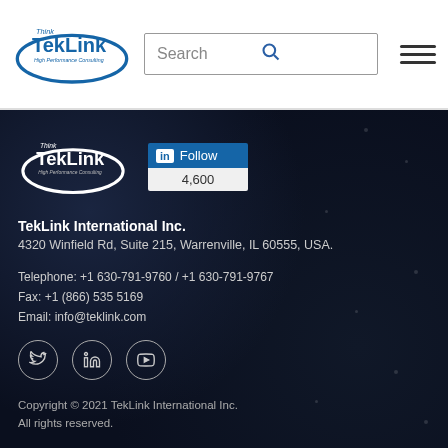[Figure (logo): TekLink High Performance Consulting logo in blue with oval swoosh]
Search
[Figure (logo): TekLink High Performance Consulting logo in white with oval swoosh (footer)]
[Figure (infographic): LinkedIn Follow widget showing 4,600 followers]
TekLink International Inc.
4320 Winfield Rd, Suite 215, Warrenville, IL 60555, USA.
Telephone: +1 630-791-9760 / +1 630-791-9767
Fax: +1 (866) 535 5169
Email: info@teklink.com
[Figure (infographic): Social media icons: Twitter, LinkedIn, YouTube]
Copyright © 2021 TekLink International Inc. All rights reserved.